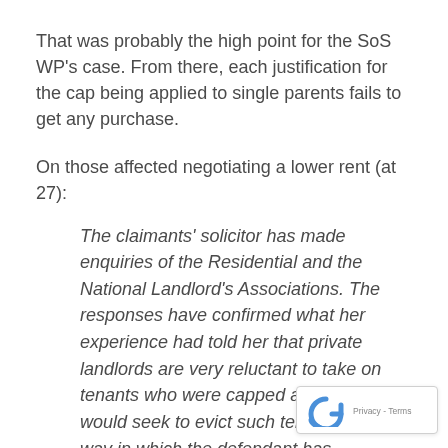That was probably the high point for the SoS WP's case. From there, each justification for the cap being applied to single parents fails to get any purchase.
On those affected negotiating a lower rent (at 27):
The claimants' solicitor has made enquiries of the Residential and the National Landlord's Associations. The responses have confirmed what her experience had told her that private landlords are very reluctant to take on tenants who were capped and many would seek to evict such tenants. One way in which the defendant has